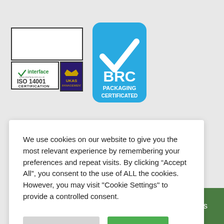[Figure (logo): ISO 14001 Certification logo with Interface branding and UKAS accreditation mark]
[Figure (logo): BRC Packaging Certificated logo on blue rounded rectangle with white checkmark]
[Figure (logo): Partial certification logo partially visible behind cookie consent overlay]
We use cookies on our website to give you the most relevant experience by remembering your preferences and repeat visits. By clicking “Accept All”, you consent to the use of ALL the cookies. However, you may visit "Cookie Settings" to provide a controlled consent.
Cookie Settings
Accept All
Contact Us